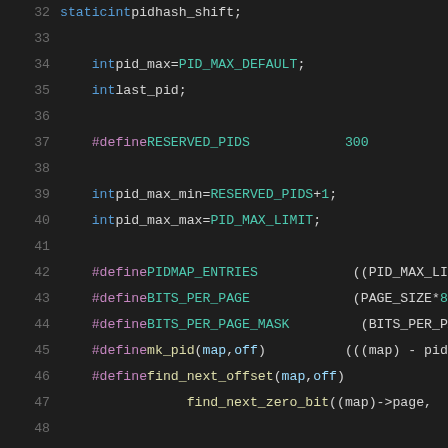[Figure (screenshot): Source code snippet showing C kernel code with line numbers 32-52, dark theme editor, displaying variable declarations and #define macros for PID management]